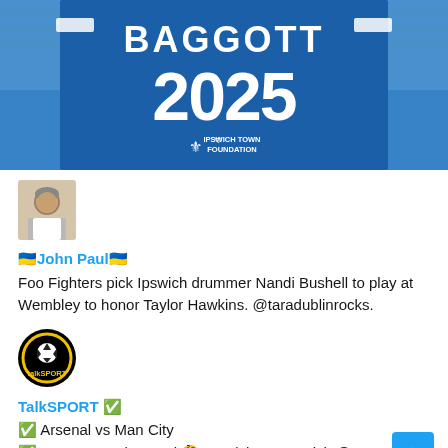[Figure (photo): Person holding up a blue Ipswich Town football shirt with 'BAGGOTT' and '2025' printed on the back, with the Ipswich Town Foundation logo. Blue stadium seats visible in background.]
[Figure (photo): Profile avatar of John Paul — older man in white shirt]
🇺🇦John Paul🇺🇦
Foo Fighters pick Ipswich drummer Nandi Bushell to play at Wembley to honor Taylor Hawkins. @taradublinrocks.
[Figure (logo): TalkSPORT circular logo — black background, yellow circle, white soccer ball, yellow 'talkSPORT' text]
TalkSPORT ✅
✅ Arsenal vs Man City
✅ Everton vs Liverpool 🤔 Ipswich vs Norwich @SamEllard asks punters at Royal Ascot which fixture they think is the